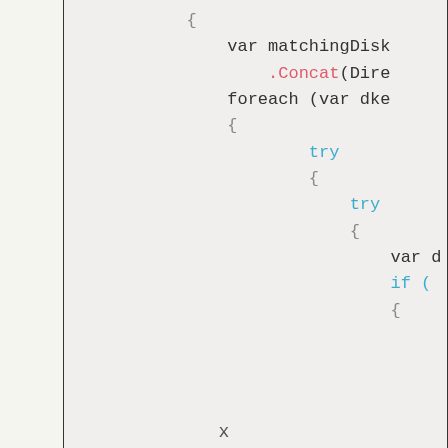[Figure (screenshot): Code snippet showing C# source code with syntax highlighting. Contains var declaration, .Concat method call (pink), foreach loop, nested try blocks (blue), var and if keywords, with gray curly braces.]